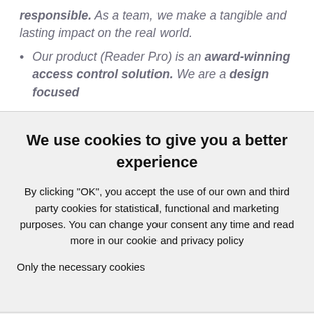responsible. As a team, we make a tangible and lasting impact on the real world.
Our product (Reader Pro) is an award-winning access control solution. We are a design focused
We use cookies to give you a better experience
By clicking "OK", you accept the use of our own and third party cookies for statistical, functional and marketing purposes. You can change your consent any time and read more in our cookie and privacy policy
Only the necessary cookies
[Figure (screenshot): OK button (blue, rounded) and SHOW DETAILS text link in the bottom bar of a cookie consent modal]